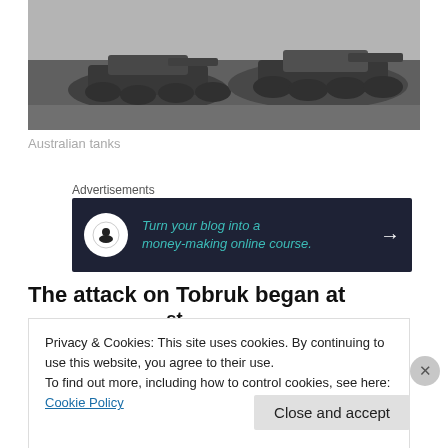[Figure (photo): Black and white photograph of Australian tanks moving across desert terrain]
Australian tanks
Advertisements
[Figure (other): Advertisement banner: Turn your blog into a money-making online course.]
The attack on Tobruk began at 5.40am on 21st January
Privacy & Cookies: This site uses cookies. By continuing to use this website, you agree to their use.
To find out more, including how to control cookies, see here: Cookie Policy
Close and accept